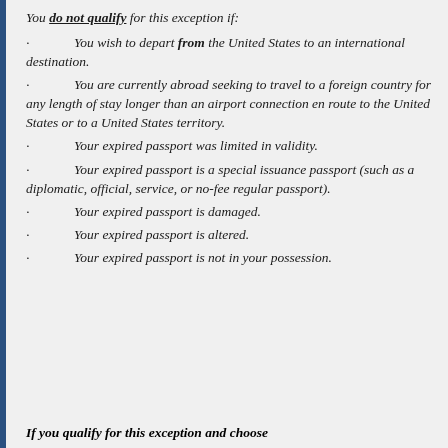You do not qualify for this exception if:
You wish to depart from the United States to an international destination.
You are currently abroad seeking to travel to a foreign country for any length of stay longer than an airport connection en route to the United States or to a United States territory.
Your expired passport was limited in validity.
Your expired passport is a special issuance passport (such as a diplomatic, official, service, or no-fee regular passport).
Your expired passport is damaged.
Your expired passport is altered.
Your expired passport is not in your possession.
If you qualify for this exception and choose